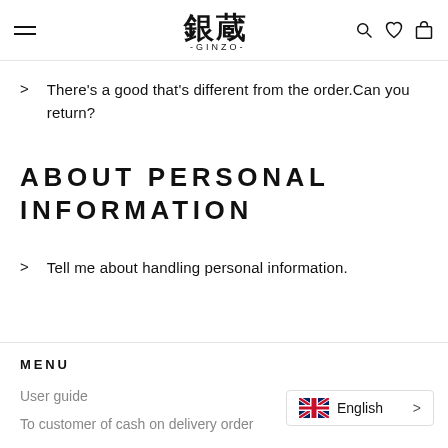GINZO — navigation header with hamburger menu, logo, search, wishlist, and cart icons
There's a good that's different from the order.Can you return?
ABOUT PERSONAL INFORMATION
Tell me about handling personal information.
MENU
User guide
To customer of cash on delivery order
English